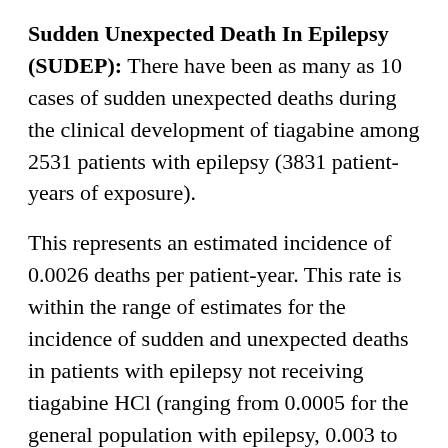Sudden Unexpected Death In Epilepsy (SUDEP): There have been as many as 10 cases of sudden unexpected deaths during the clinical development of tiagabine among 2531 patients with epilepsy (3831 patient-years of exposure).
This represents an estimated incidence of 0.0026 deaths per patient-year. This rate is within the range of estimates for the incidence of sudden and unexpected deaths in patients with epilepsy not receiving tiagabine HCl (ranging from 0.0005 for the general population with epilepsy, 0.003 to 0.004 for clinical trial populations similar to that in the clinical development program for tiagabine HCl, to 0.005 for patients with refractory epilepsy). The